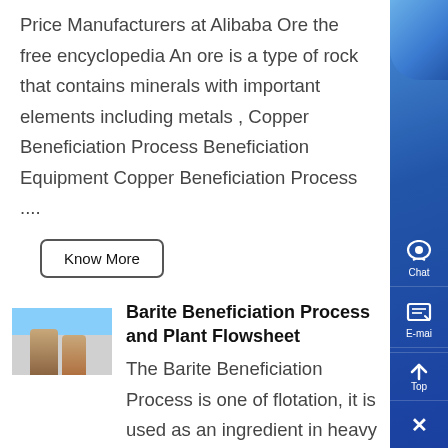Price Manufacturers at Alibaba Ore the free encyclopedia An ore is a type of rock that contains minerals with important elements including metals , Copper Beneficiation Process Beneficiation Equipment Copper Beneficiation Process ....
Know More
[Figure (photo): Photo of two people standing together outdoors with blue sky background]
Barite Beneficiation Process and Plant Flowsheet
The Barite Beneficiation Process is one of flotation, it is used as an ingredient in heavy mud for oil-well drilling, for which purpose specifications demand a material meeting the drilling mud specifications Fineness 98 finished